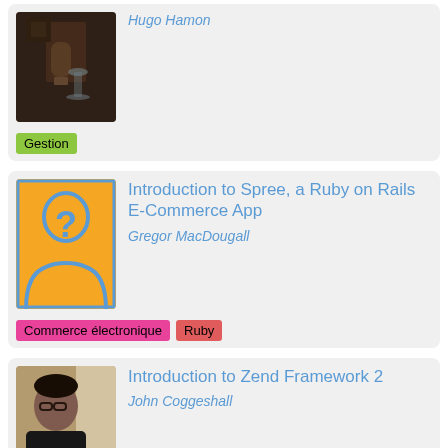[Figure (photo): Photo of Hugo Hamon, a person holding a glass in a dimly lit setting]
Hugo Hamon
Gestion
[Figure (illustration): Placeholder silhouette image with an orange background and a blue question mark]
Introduction to Spree, a Ruby on Rails E-Commerce App
Gregor MacDougall
Commerce électronique
Ruby
[Figure (photo): Photo of John Coggeshall, a person with glasses and dark hair]
Introduction to Zend Framework 2
John Coggeshall